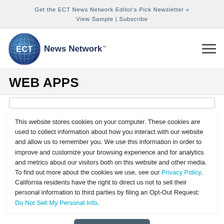Get the ECT News Network Editor's Pick Newsletter » View Sample | Subscribe
[Figure (logo): ECT News Network logo — blue globe with 'ECT' text and 'News Network' wordmark]
This website stores cookies on your computer. These cookies are used to collect information about how you interact with our website and allow us to remember you. We use this information in order to improve and customize your browsing experience and for analytics and metrics about our visitors both on this website and other media. To find out more about the cookies we use, see our Privacy Policy. California residents have the right to direct us not to sell their personal information to third parties by filing an Opt-Out Request: Do Not Sell My Personal Info.
Accept